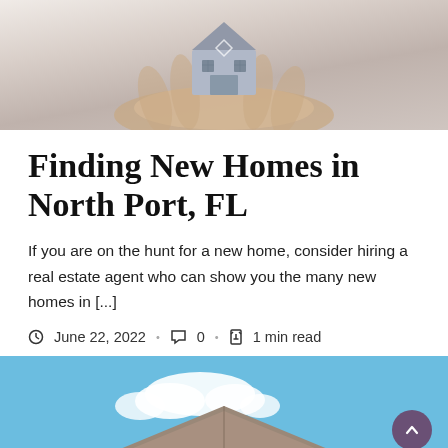[Figure (photo): A hand holding a small house model, photographed from above, with a blurred background.]
Finding New Homes in North Port, FL
If you are on the hunt for a new home, consider hiring a real estate agent who can show you the many new homes in [...]
June 22, 2022 · 0 · 1 min read
[Figure (photo): A house rooftop against a blue sky with white clouds.]